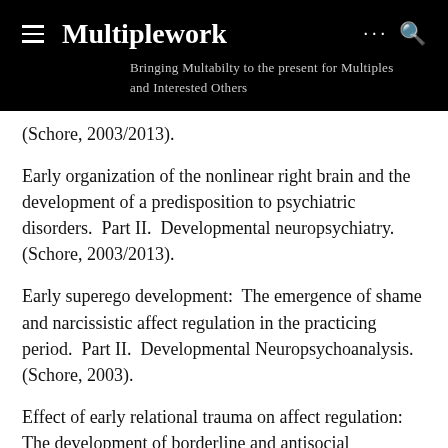Multiplework — Bringing Multabilty to the present for Multiples and Interested Others
(Schore, 2003/2013).
Early organization of the nonlinear right brain and the development of a predisposition to psychiatric disorders.  Part II.  Developmental neuropsychiatry.  (Schore, 2003/2013).
Early superego development:  The emergence of shame and narcissistic affect regulation in the practicing period.  Part II.  Developmental Neuropsychoanalysis.  (Schore, 2003).
Effect of early relational trauma on affect regulation: The development of borderline and antisocial